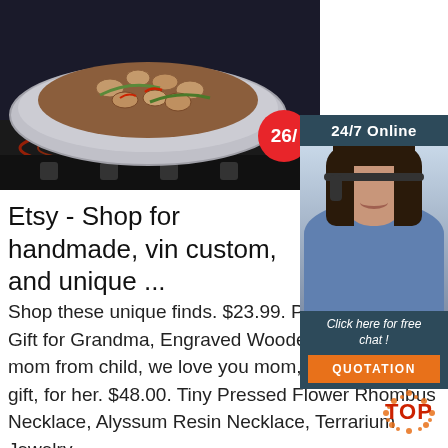[Figure (photo): Product image showing a stainless steel wok/pan with stir-fried clams and vegetables, displayed on an induction cooktop. A red circle badge shows '26/' in the lower right of the image.]
[Figure (infographic): 24/7 Online customer service panel with a female customer service agent wearing a headset, plus a 'Click here for free chat!' message and an orange 'QUOTATION' button.]
Etsy - Shop for handmade, vin custom, and unique ...
Shop these unique finds. $23.99. Pers Mother's Day Gift for Grandma, Engraved Wooden Spoon, gift for mom from child, we love you mom, Valentine's Day gift, for her. $48.00. Tiny Pressed Flower Rhombus Necklace, Alyssum Resin Necklace, Terrarium Jewelry,
[Figure (logo): Orange and red 'TOP' badge/stamp at bottom right corner]